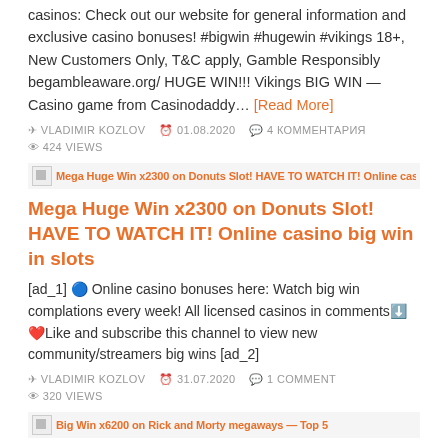casinos: Check out our website for general information and exclusive casino bonuses! #bigwin #hugewin #vikings 18+, New Customers Only, T&C apply, Gamble Responsibly begambleaware.org/ HUGE WIN!!! Vikings BIG WIN — Casino game from Casinodaddy… [Read More]
VLADIMIR KOZLOV  01.08.2020  4 КОММЕНТАРИЯ  424 VIEWS
[Figure (screenshot): Broken image thumbnail with overlaid orange text: Mega Huge Win x2300 on Donuts Slot! HAVE TO WATCH IT!]
Mega Huge Win x2300 on Donuts Slot! HAVE TO WATCH IT! Online casino big win in slots
[ad_1] 🔵 Online casino bonuses here: Watch big win complations every week! All licensed casinos in comments⬇️ ❤️Like and subscribe this channel to view new community/streamers big wins [ad_2]
VLADIMIR KOZLOV  31.07.2020  1 COMMENT  320 VIEWS
[Figure (screenshot): Broken image thumbnail with overlaid orange text: Big Win x6200 on Rick and Morty megaways — Top 5]
Unreal win x6200 on Rick and Morty megaways — Top 5 Big wins in online slots